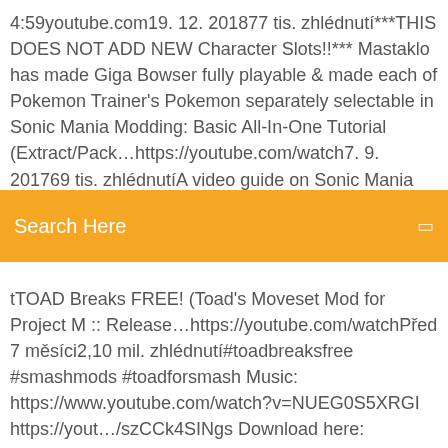4:59youtube.com19. 12. 201877 tis. zhlédnutí***THIS DOES NOT ADD NEW Character Slots!!*** Mastaklo has made Giga Bowser fully playable & made each of Pokemon Trainer's Pokemon separately selectable in Sonic Mania Modding: Basic All-In-One Tutorial (Extract/Pack…https://youtube.com/watch7. 9. 201769 tis. zhlédnutíA video guide on Sonic Mania modding!
[Figure (screenshot): Orange search bar with 'Search Here' text and a search icon on the right]
tTOAD Breaks FREE! (Toad's Moveset Mod for Project M :: Release…https://youtube.com/watchPřed 7 měsíci2,10 mil. zhlédnutí#toadbreaksfree #smashmods #toadforsmash Music: https://www.youtube.com/watch?v=NUEG0S5XRGI https://yout…/szCCk4SINgs Download here: http://forums.kc-mm.cUnreal Engine 4 [4.13.1] Zelda Ocarina of Time / Hyrule Field…https://youtube.com/watch26. 10. 20161,25 mil. zhlédnutíSubscribe http://goo.gl/jf55Lc | https://twitter.com/CryZENx | https://www.…com/CryZENx/